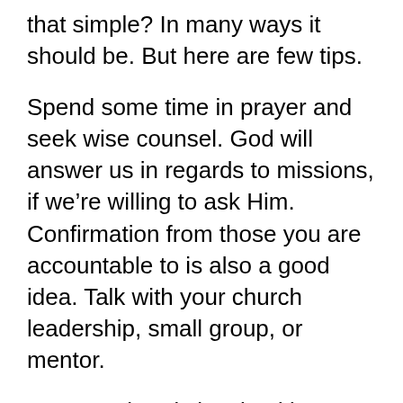that simple? In many ways it should be. But here are few tips.
Spend some time in prayer and seek wise counsel. God will answer us in regards to missions, if we’re willing to ask Him. Confirmation from those you are accountable to is also a good idea. Talk with your church leadership, small group, or mentor.
Are you already involved in ministry? Missionaries don’t begin ministry when they head overseas. Many times they do what they were already doing at home. They simply chose to serve cross-culturally, or where the need is greatest. We don’t become something else just because we got a job title, or changed locations.